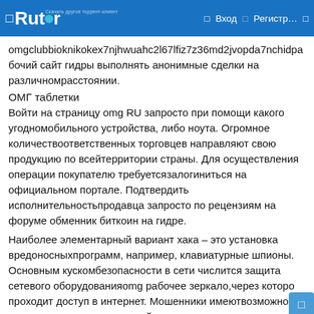Rutor — Вход — Регистр...
omgclubbioknikokex7njhwuahc2l67lfiz7z36md2jvopda7nchidpa бочий сайт гидры выполнять анонимные сделки на различномрасстоянии.
ОМГ таблетки
Войти на страницу omg RU запросто при помощи какого угодномобильного устройства, либо ноута. Огромное количествответственных торговцев направляют свою продукцию по всейтерритории страны. Для осуществления операции покупателю требуетсязалогиниться на официальном портале. Подтвердить исполнительностьпродавца запросто по рецензиям на форуме обменник биткоин на гидре.
Наиболее элементарный вариант хака – это установка вредоносныхпрограмм, например, клавиатурные шпионы. Основным кускомбезопасности в сети числится защита сетевого оборудованияomg рабочее зеркало,через которое проходит доступ в интернет. Мошенники имеютвозможность проникнуть на персональный компьютер юзера и получитьонлайн-доступ к конкретной информации.